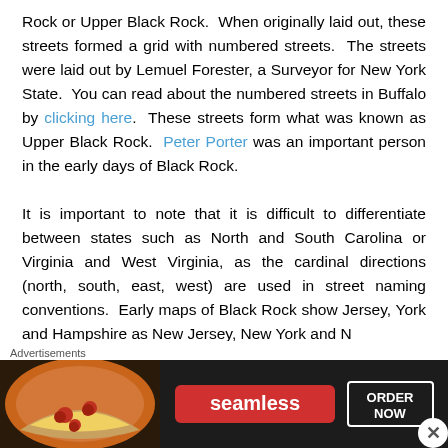Rock or Upper Black Rock.  When originally laid out, these streets formed a grid with numbered streets.  The streets were laid out by Lemuel Forester, a Surveyor for New York State.  You can read about the numbered streets in Buffalo by clicking here.  These streets form what was known as Upper Black Rock.  Peter Porter was an important person in the early days of Black Rock.

It is important to note that it is difficult to differentiate between states such as North and South Carolina or Virginia and West Virginia, as the cardinal directions (north, south, east, west) are used in street naming conventions.  Early maps of Black Rock show Jersey, York and Hampshire as New Jersey, New York and Ne...
[Figure (other): Seamless food delivery advertisement banner showing pizza and 'ORDER NOW' button]